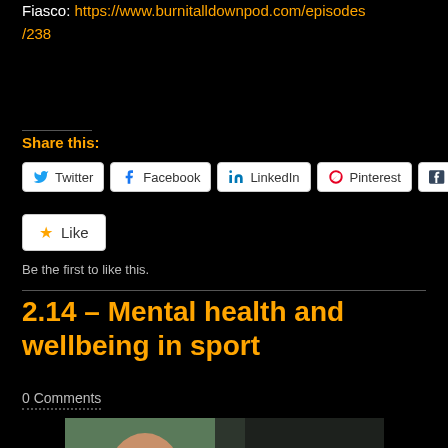Fiasco: https://www.burnitalldownpod.com/episodes/238
Share this:
Twitter  Facebook  LinkedIn  Pinterest  Tumblr
Like
Be the first to like this.
2.14 – Mental health and wellbeing in sport
0 Comments
[Figure (photo): Podcast thumbnail showing a person with text EIGHTY PERCENT overlaid]